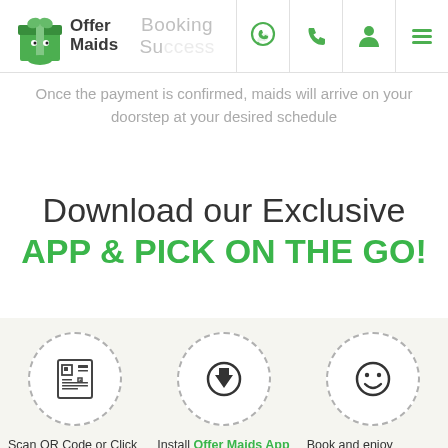[Figure (logo): Offer Maids logo with green gift box icon and text 'Offer Maids']
Booking Success
Once the payment is confirmed, maids will arrive on your doorstep at your desired schedule
Download our Exclusive
APP & PICK ON THE GO!
[Figure (illustration): QR code / newspaper icon in a dashed circle]
Scan QR Code or Click on link to go to store
[Figure (illustration): Download arrow icon in a dashed circle]
Install Offer Maids App on your mobile device
[Figure (illustration): Smiley face icon in a dashed circle]
Book and enjoy amazing offers every hour